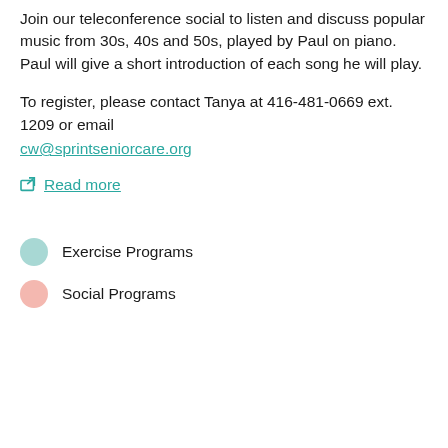Join our teleconference social to listen and discuss popular music from 30s, 40s and 50s, played by Paul on piano. Paul will give a short introduction of each song he will play.
To register, please contact Tanya at 416-481-0669 ext. 1209 or email cw@sprintseniorcare.org
Read more
Exercise Programs
Social Programs